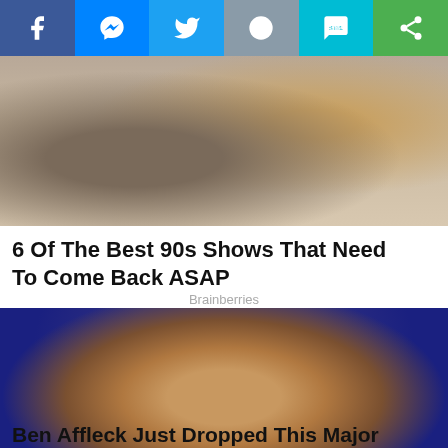[Figure (other): Social media sharing bar with icons for Facebook, Messenger, Twitter, Reddit, SMS, and Share]
[Figure (photo): Photo of two people from behind, one with dark hair and one with red/orange hair]
6 Of The Best 90s Shows That Need To Come Back ASAP
Brainberries
[Figure (photo): Close-up photo of a woman with tearful expression against a dark blue background, with a back-to-top button in lower right corner]
Ben Affleck Just Dropped This Major Bombshell